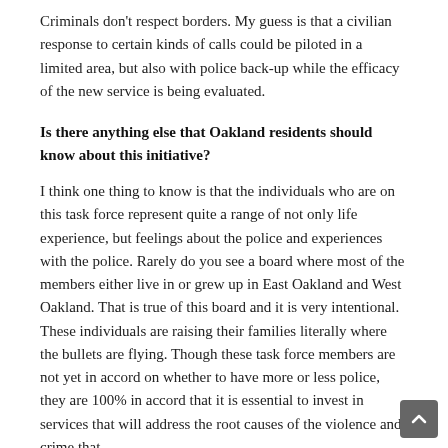Criminals don't respect borders. My guess is that a civilian response to certain kinds of calls could be piloted in a limited area, but also with police back-up while the efficacy of the new service is being evaluated.
Is there anything else that Oakland residents should know about this initiative?
I think one thing to know is that the individuals who are on this task force represent quite a range of not only life experience, but feelings about the police and experiences with the police. Rarely do you see a board where most of the members either live in or grew up in East Oakland and West Oakland. That is true of this board and it is very intentional. These individuals are raising their families literally where the bullets are flying. Though these task force members are not yet in accord on whether to have more or less police, they are 100% in accord that it is essential to invest in services that will address the root causes of the violence and crime that